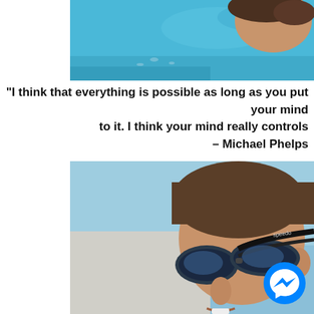[Figure (photo): Close-up photo of a swimmer in water, showing hair and blue water background, cropped at top]
"I think that everything is possible as long as you put your mind to it. I think your mind really controls – Michael Phelps
[Figure (photo): Portrait photo of a young male swimmer wearing Speedo swimming goggles on his forehead, against a blue sky background]
[Figure (other): Facebook Messenger button icon, blue circle with white lightning bolt/chat symbol]